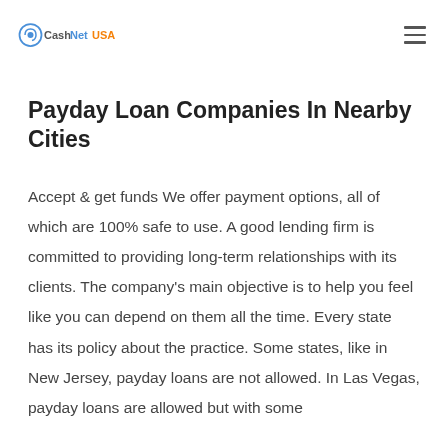CashNetUSA
Payday Loan Companies In Nearby Cities
Accept & get funds We offer payment options, all of which are 100% safe to use. A good lending firm is committed to providing long-term relationships with its clients. The company's main objective is to help you feel like you can depend on them all the time. Every state has its policy about the practice. Some states, like in New Jersey, payday loans are not allowed. In Las Vegas, payday loans are allowed but with some